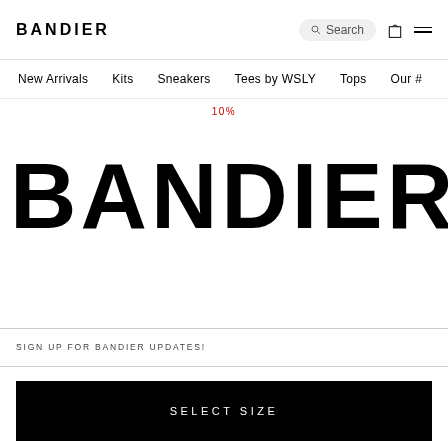BANDIER
New Arrivals   Kits   Sneakers   Tees by WSLY   Tops   Our #
10%
BANDIER
SIGN UP FOR BANDIER UPDATES!
SELECT SIZE